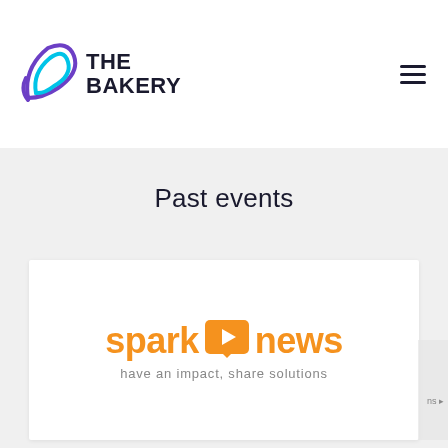[Figure (logo): The Bakery logo: stylized bird/leaf shape in cyan and purple, with bold dark navy text THE BAKERY]
[Figure (logo): Hamburger menu icon (three horizontal lines) in dark navy]
Past events
[Figure (logo): spark news logo: orange text 'spark' followed by orange speech-bubble play-button icon, then orange text 'news', with tagline 'have an impact, share solutions' in gray below]